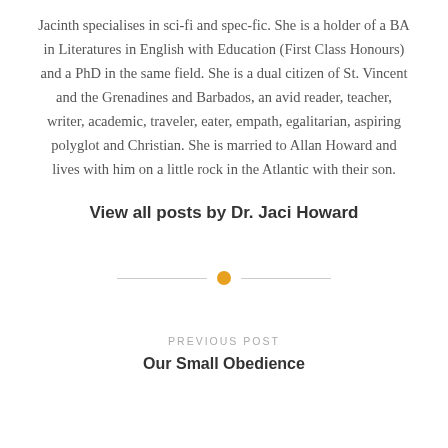Jacinth specialises in sci-fi and spec-fic. She is a holder of a BA in Literatures in English with Education (First Class Honours) and a PhD in the same field. She is a dual citizen of St. Vincent and the Grenadines and Barbados, an avid reader, teacher, writer, academic, traveler, eater, empath, egalitarian, aspiring polyglot and Christian. She is married to Allan Howard and lives with him on a little rock in the Atlantic with their son.
View all posts by Dr. Jaci Howard
[Figure (other): Decorative horizontal divider with a golden/orange dot in the center flanked by thin lines]
PREVIOUS POST
Our Small Obedience